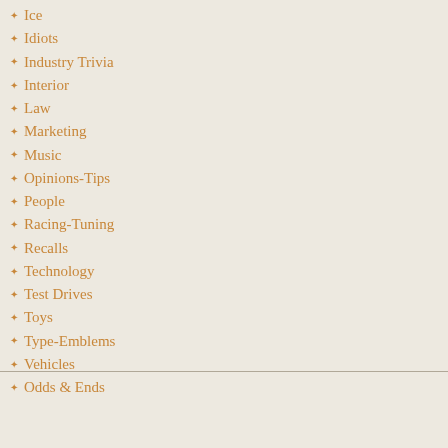Ice
Idiots
Industry Trivia
Interior
Law
Marketing
Music
Opinions-Tips
People
Racing-Tuning
Recalls
Technology
Test Drives
Toys
Type-Emblems
Vehicles
Odds & Ends
The sale is expected to close by the end of closing conditions, including receipt of ap
The deal is expected to secure more than HUMMER dealerships around the country aggressively fund future HUMMER produ purchaser and proposed financial terms of
“HUMMER is a strong brand,” said Troy that HUMMER will thrive globally under accelerate the reinvention of GM into a le ."
As part of the proposed transaction, HUM business services from GM during a defin proposed agreement, GM’s Shreveport As and H3T through at least 2010.
"GM has developed HUMMER into a glo HUMMER chief executive officer. “The p and maximize the brand’s potential throu efficiency and alternative fuel powertrains current and future customers, dealers, sup
Other terms and conditions specific to the financial advisor to General Motors Corne